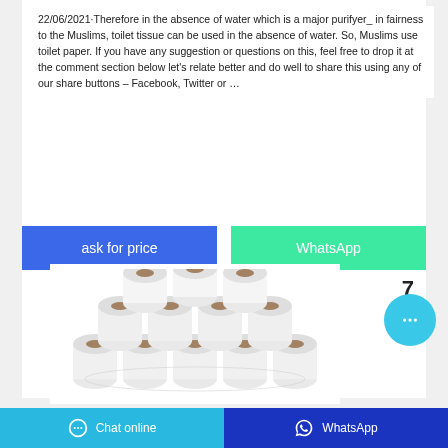22/06/2021·Therefore in the absence of water which is a major purifyer_ in fairness to the Muslims, toilet tissue can be used in the absence of water. So, Muslims use toilet paper. If you have any suggestion or questions on this, feel free to drop it at the comment section below let's relate better and do well to share this using any of our share buttons – Facebook, Twitter or …
[Figure (other): Two buttons: 'ask for price' (blue) and 'WhatsApp' (green/teal)]
[Figure (photo): Stack of white toilet paper rolls bundled together]
Chat online   WhatsApp